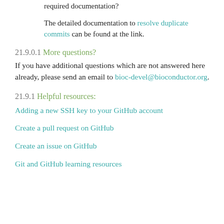required documentation?
The detailed documentation to resolve duplicate commits can be found at the link.
21.9.0.1 More questions?
If you have additional questions which are not answered here already, please send an email to bioc-devel@bioconductor.org.
21.9.1 Helpful resources:
Adding a new SSH key to your GitHub account
Create a pull request on GitHub
Create an issue on GitHub
Git and GitHub learning resources